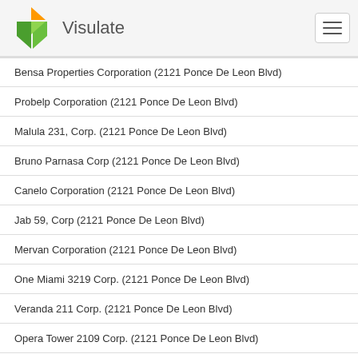Visulate
Bensa Properties Corporation (2121 Ponce De Leon Blvd)
Probelp Corporation (2121 Ponce De Leon Blvd)
Malula 231, Corp. (2121 Ponce De Leon Blvd)
Bruno Parnasa Corp (2121 Ponce De Leon Blvd)
Canelo Corporation (2121 Ponce De Leon Blvd)
Jab 59, Corp (2121 Ponce De Leon Blvd)
Mervan Corporation (2121 Ponce De Leon Blvd)
One Miami 3219 Corp. (2121 Ponce De Leon Blvd)
Veranda 211 Corp. (2121 Ponce De Leon Blvd)
Opera Tower 2109 Corp. (2121 Ponce De Leon Blvd)